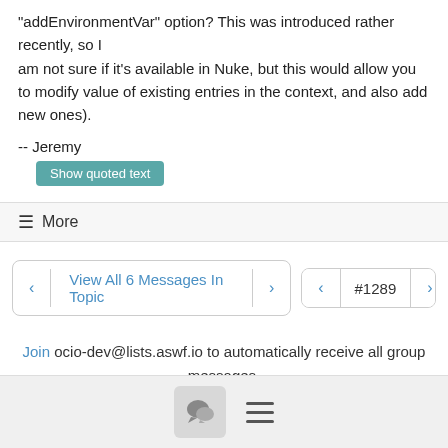"addEnvironmentVar" option?  This was introduced rather recently, so I am not sure if it's available in Nuke, but this would allow you to modify value of existing entries in the context, and also add new ones).
-- Jeremy
Show quoted text
≡ More
View All 6 Messages In Topic
#1289
Join ocio-dev@lists.aswf.io to automatically receive all group messages.
[chat icon] [menu icon]